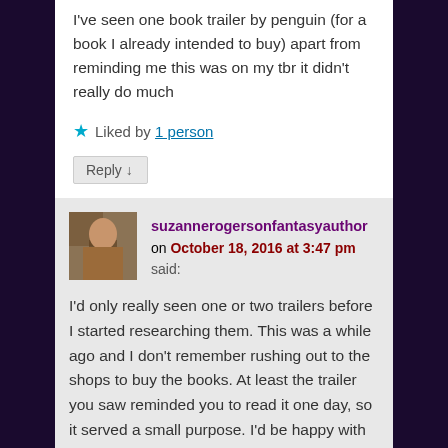I've seen one book trailer by penguin (for a book I already intended to buy) apart from reminding me this was on my tbr it didn't really do much
Liked by 1 person
Reply ↓
suzannerogersonfantasyauthor on October 18, 2016 at 3:47 pm said:
I'd only really seen one or two trailers before I started researching them. This was a while ago and I don't remember rushing out to the shops to buy the books. At least the trailer you saw reminded you to read it one day, so it served a small purpose. I'd be happy with that result! Thanks for commenting.